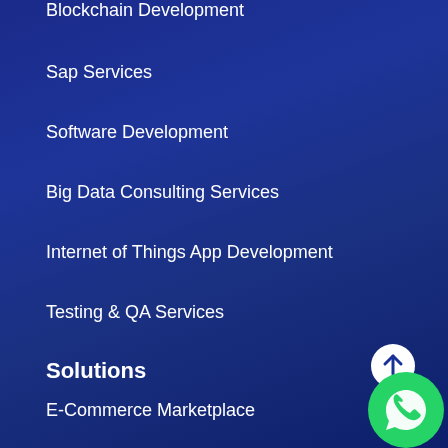Blockchain Development
Sap Services
Software Development
Big Data Consulting Services
Internet of Things App Development
Testing & QA Services
Solutions
E-Commerce Marketplace
On Demand Food Delivery
Restaurant Table Reservation
Salon Application for Users, Employees & Owners
[Figure (logo): WhatsApp contact button (green circle with phone icon) and scroll-up arrow button (white circle with upward arrow)]